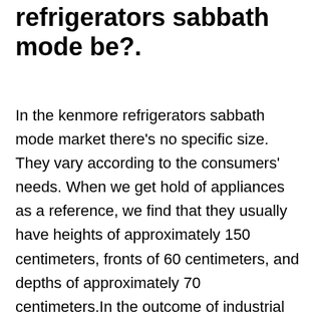refrigerators sabbath mode be?.
In the kenmore refrigerators sabbath mode market there's no specific size. They vary according to the consumers' needs. When we get hold of appliances as a reference, we find that they usually have heights of approximately 150 centimeters, fronts of 60 centimeters, and depths of approximately 70 centimeters.In the outcome of industrial equipment, these values could easily be doubled. The industrial refrigerators type, have dimensions that may double that of the standard ones.